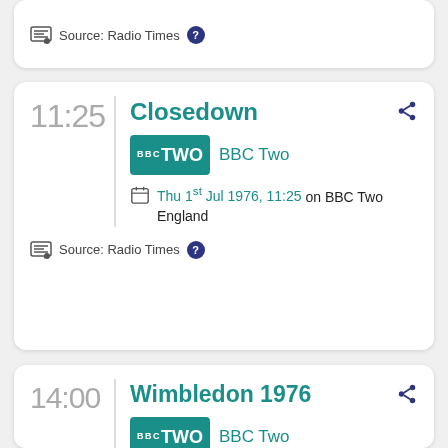Source: Radio Times
11:25 Closedown BBC Two Thu 1st Jul 1976, 11:25 on BBC Two England Source: Radio Times
14:00 Wimbledon 1976 BBC Two